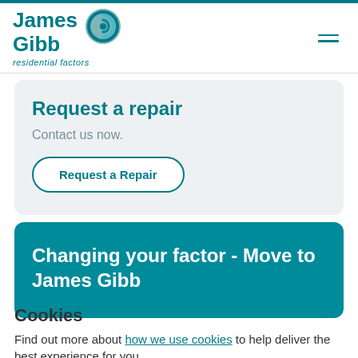[Figure (logo): James Gibb residential factors logo with teal spiral icon]
Request a repair
Contact us now.
Request a Repair
Changing your factor - Move to James Gibb
Cookies
Find out more about how we use cookies to help deliver the best experience for you.